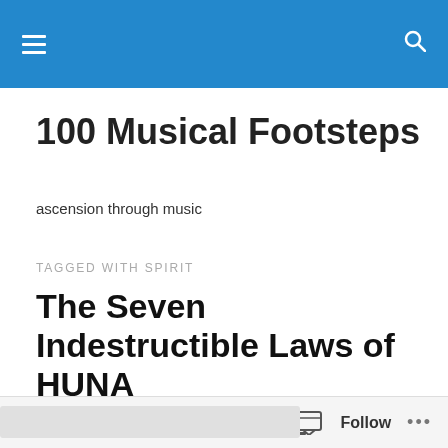100 Musical Footsteps — site navigation header
100 Musical Footsteps
ascension through music
TAGGED WITH SPIRIT
The Seven Indestructible Laws of HUNA
Metatrons Art Gallery
< >
Follow  ...